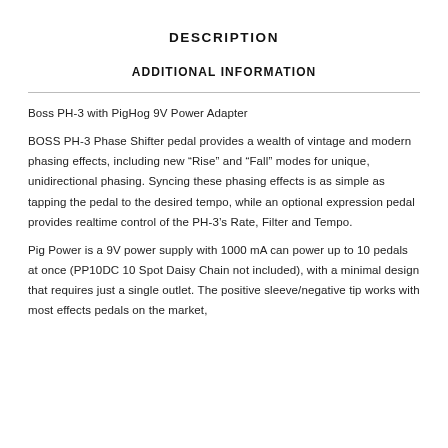DESCRIPTION
ADDITIONAL INFORMATION
Boss PH-3 with PigHog 9V Power Adapter
BOSS PH-3 Phase Shifter pedal provides a wealth of vintage and modern phasing effects, including new “Rise” and “Fall” modes for unique, unidirectional phasing. Syncing these phasing effects is as simple as tapping the pedal to the desired tempo, while an optional expression pedal provides realtime control of the PH-3’s Rate, Filter and Tempo.
Pig Power is a 9V power supply with 1000 mA can power up to 10 pedals at once (PP10DC 10 Spot Daisy Chain not included), with a minimal design that requires just a single outlet. The positive sleeve/negative tip works with most effects pedals on the market,